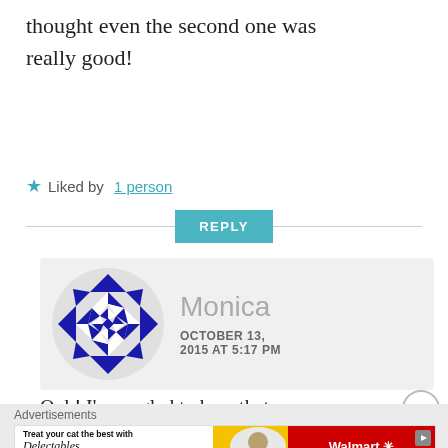thought even the second one was really good!
Liked by 1 person
REPLY
[Figure (illustration): Circular avatar with geometric blue and white quilt/star pattern on grey background]
Monica
OCTOBER 13, 2015 AT 5:17 PM
Ooh! I'm so glad to hear that. I do usually worry about
Advertisements
[Figure (illustration): Walmart Delectables cat treats advertisement banner: 'Treat your cat the best with Delectables cat treats' with cat photo and Walmart logo]